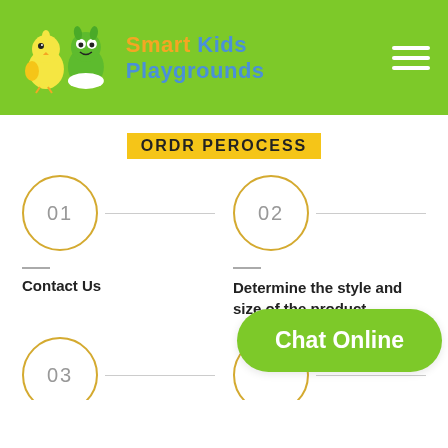Smart Kids Playgrounds
ORDR PEROCESS
01
02
Contact Us
Determine the style and size of the product
03
Chat Online